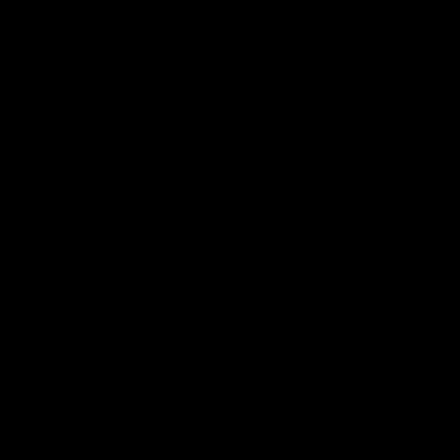of thing gone wild . . . can't remember the name or which collection it's in (maybe CivilWarl in Bad Decline), but like all Saunders stuff it's pretty damn great/sca
Posted by: Brian | December 27, 2007